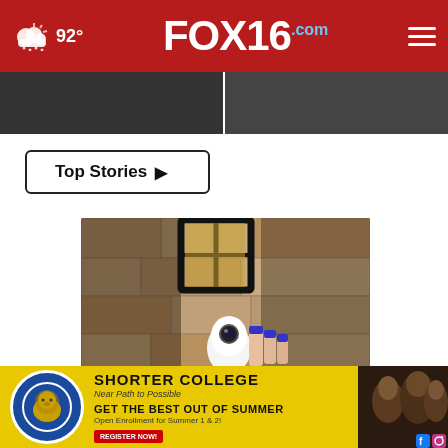FOX16.com — 92° weather header with navigation
[Figure (screenshot): Two dark thumbnail images side by side below the header]
Top Stories ▶
[Figure (photo): Security camera mounted near an exterior stone wall lantern, with a hand holding it]
Homeowners Are Trading In Their Doorbell Cams For This - Now 50% Off
[Figure (photo): Shorter College advertisement banner with yellow background, college logo, text about summer enrollment and people photos]